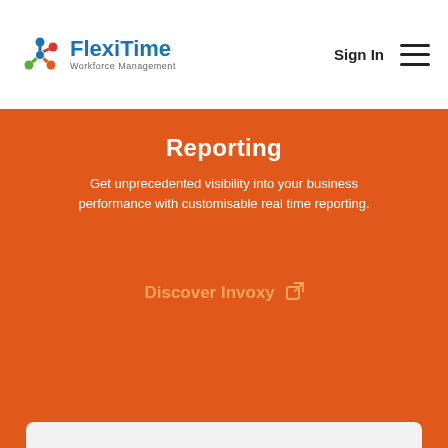[Figure (logo): FlexiTime Workforce Management logo with colorful asterisk/snowflake icon in blue, orange, green, and red, and blue text 'FlexiTime' with subtitle 'Workforce Management']
Sign In
Reporting
Get unprecedented visibility into your business performance with customisable real time reporting.
Discover Invoxy ↗